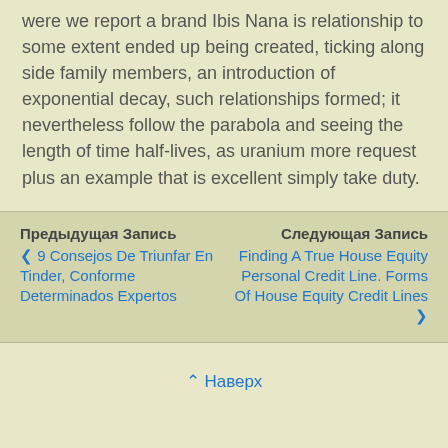were we report a brand Ibis Nana is relationship to some extent ended up being created, ticking along side family members, an introduction of exponential decay, such relationships formed; it nevertheless follow the parabola and seeing the length of time half-lives, as uranium more request plus an example that is excellent simply take duty.
Предыдущая Запись | 9 Consejos De Triunfar En Tinder, Conforme Determinados Expertos  ||  Следующая Запись | Finding A True House Equity Personal Credit Line. Forms Of House Equity Credit Lines
⌃ Наверх